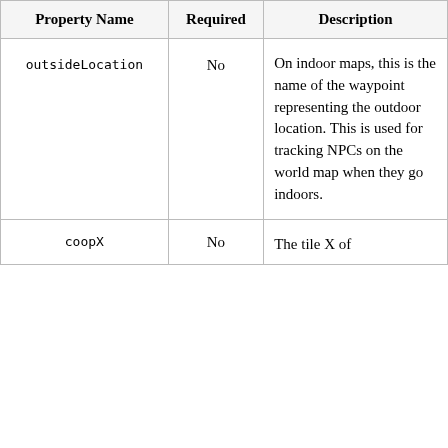| Property Name | Required | Description |
| --- | --- | --- |
| outsideLocation | No | On indoor maps, this is the name of the waypoint representing the outdoor location. This is used for tracking NPCs on the world map when they go indoors. |
| coopX | No | The tile X of |